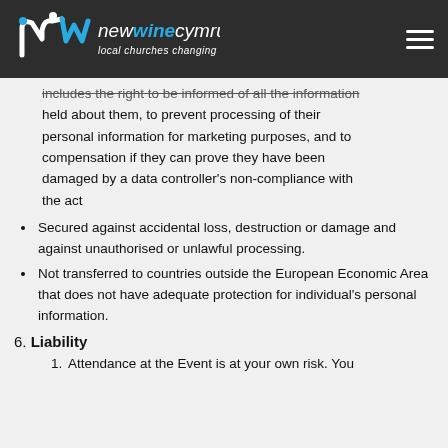New Wine Cymru — local churches changing nations
includes the right to be informed of all the information held about them, to prevent processing of their personal information for marketing purposes, and to compensation if they can prove they have been damaged by a data controller's non-compliance with the act
Secured against accidental loss, destruction or damage and against unauthorised or unlawful processing.
Not transferred to countries outside the European Economic Area that does not have adequate protection for individual's personal information.
6. Liability
1. Attendance at the Event is at your own risk. You